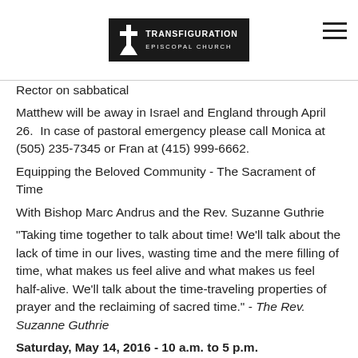Transfiguration Episcopal Church
Rector on sabbatical
Matthew will be away in Israel and England through April 26.  In case of pastoral emergency please call Monica at (505) 235-7345 or Fran at (415) 999-6662.
Equipping the Beloved Community - The Sacrament of Time
With Bishop Marc Andrus and the Rev. Suzanne Guthrie
"Taking time together to talk about time! We'll talk about the lack of time in our lives, wasting time and the mere filling of time, what makes us feel alive and what makes us feel half-alive. We'll talk about the time-traveling properties of prayer and the reclaiming of sacred time." - The Rev. Suzanne Guthrie
Saturday, May 14, 2016 - 10 a.m. to 5 p.m.
St. Paul's, 415 El Camino Real, Burlingame
$10 - Cost to members of Transfiguration